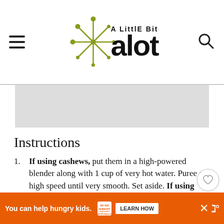A Little Bit Alot — blog header logo with hamburger menu and search icon
[Figure (other): Gray placeholder image box]
Instructions
If using cashews, put them in a high-powered blender along with 1 cup of very hot water. Puree at high speed until very smooth. Set aside. If using cream, measure 1 ½ cups and set aside.
Add the garam masala, curry powder, chili powder, turmeric, paprika, sugar, …
You can help hungry kids. NO KID HUNGRY LEARN HOW